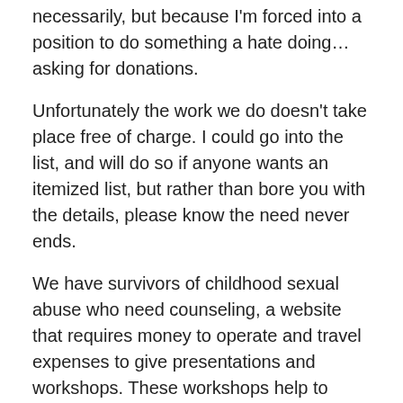necessarily, but because I'm forced into a position to do something a hate doing…asking for donations.
Unfortunately the work we do doesn't take place free of charge. I could go into the list, and will do so if anyone wants an itemized list, but rather than bore you with the details, please know the need never ends.
We have survivors of childhood sexual abuse who need counseling, a website that requires money to operate and travel expenses to give presentations and workshops. These workshops help to educate the public on all matters of CSA, the grooming techniques of sexual predators and how to keep our children safer from them.
We are not setting a “goal” we are going to trust that the amount needed for the upcoming year will be met by what your heart says to give. I can tell you that lives have been